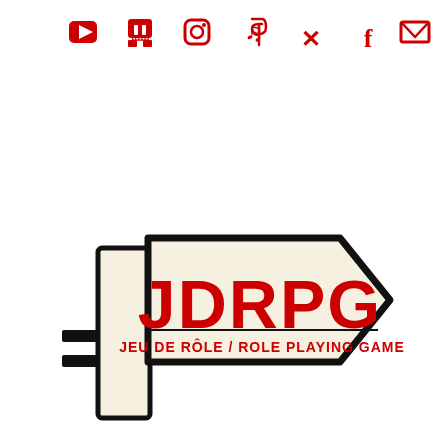[Figure (logo): Social media icons row (YouTube, Twitch, Instagram, TikTok, Twitter, Facebook, Email) in red at top, and a directional sign/road sign logo below with a post, pointing right, reading 'JDRPG' in large red bold letters and 'JEU DE RÔLE / ROLE PLAYING GAME' in smaller red text underneath]